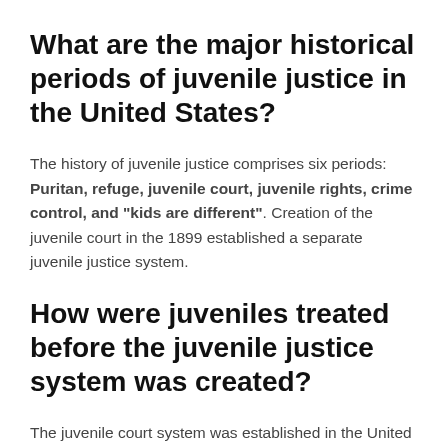What are the major historical periods of juvenile justice in the United States?
The history of juvenile justice comprises six periods: Puritan, refuge, juvenile court, juvenile rights, crime control, and “kids are different”. Creation of the juvenile court in the 1899 established a separate juvenile justice system.
How were juveniles treated before the juvenile justice system was created?
The juvenile court system was established in the United States a little more than a century ago, with the first court